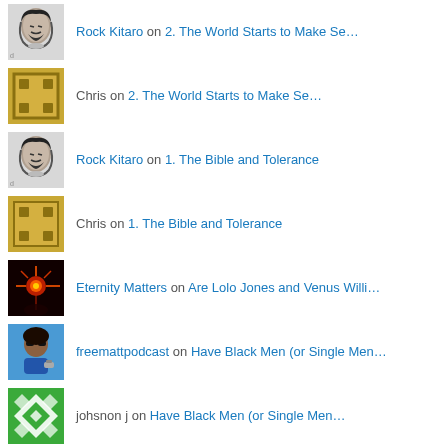Rock Kitaro on 2. The World Starts to Make Se…
Chris on 2. The World Starts to Make Se…
Rock Kitaro on 1. The Bible and Tolerance
Chris on 1. The Bible and Tolerance
Eternity Matters on Are Lolo Jones and Venus Willi…
freemattpodcast on Have Black Men (or Single Men…
johsnon j on Have Black Men (or Single Men…
Rock Kitaro on Solutions to Problems in the B…